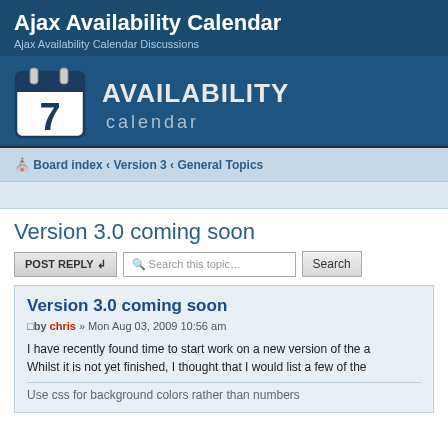Ajax Availability Calendar
Ajax Availability Calendar Discussions
[Figure (logo): Availability Calendar logo with calendar icon showing number 7 and stylized text AVAILABILITY calendar]
Board index ‹ Version 3 ‹ General Topics
Version 3.0 coming soon
POST REPLY   Search this topic...   Search
Version 3.0 coming soon
by chris » Mon Aug 03, 2009 10:56 am
I have recently found time to start work on a new version of the a Whilst it is not yet finished, I thought that I would list a few of the
Use css for background colors rather than numbers